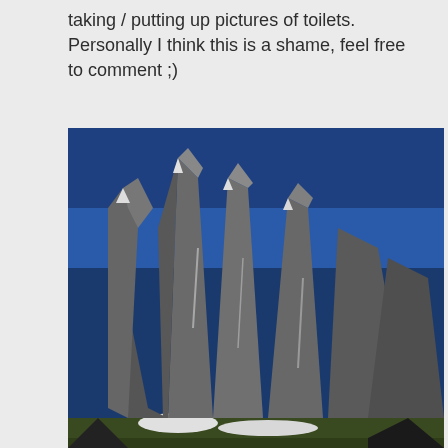taking / putting up pictures of toilets. Personally I think this is a shame, feel free to comment ;)
[Figure (photo): Photograph of tall rocky mountain spires (Torres del Paine) under a deep blue sky with green grass and a glacial valley at the base]
[Figure (photo): Photograph of a dark green building or refuge with a metal roof, antenna, and chimney pipes, surrounded by trees and mountains in the background]